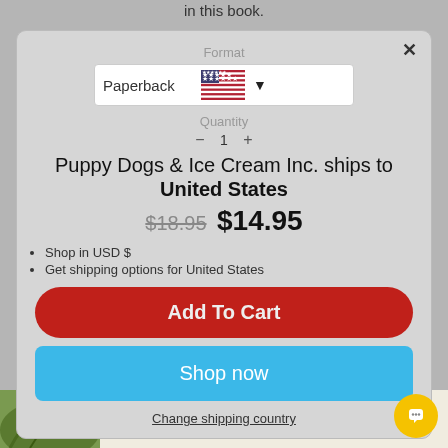in this book.
[Figure (screenshot): E-commerce modal dialog showing format selector (Paperback with US flag), quantity selector, shipping info for United States, price ($18.95 crossed out, $14.95), bullet points for USD and shipping options, Add to Cart button, Shop now button, and Change shipping country link]
Puppy Dogs & Ice Cream Inc. ships to United States
$18.95  $14.95
Shop in USD $
Get shipping options for United States
Add To Cart
Shop now
Change shipping country